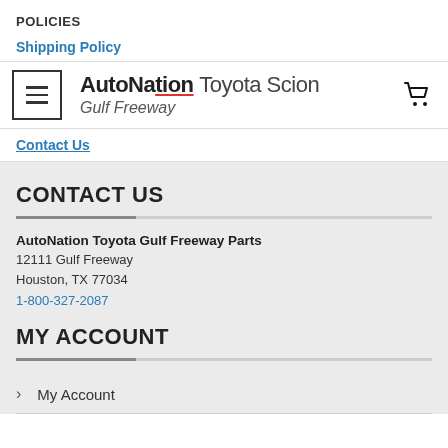POLICIES
Shipping Policy
[Figure (logo): AutoNation Toyota Scion Gulf Freeway logo with hamburger menu button and shopping cart icon]
Contact Us
CONTACT US
AutoNation Toyota Gulf Freeway Parts
12111 Gulf Freeway
Houston, TX 77034
1-800-327-2087
MY ACCOUNT
My Account